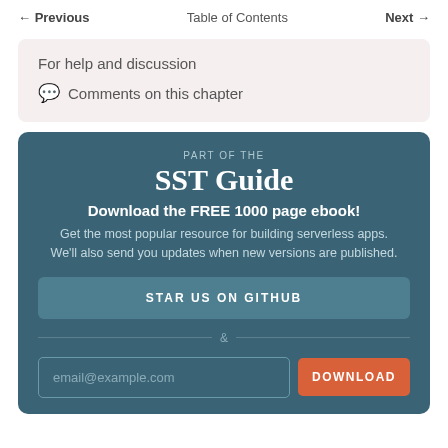← Previous   Table of Contents   Next →
For help and discussion
💬 Comments on this chapter
PART OF THE
SST Guide
Download the FREE 1000 page ebook!
Get the most popular resource for building serverless apps. We'll also send you updates when new versions are published.
STAR US ON GITHUB
&
email@example.com
DOWNLOAD